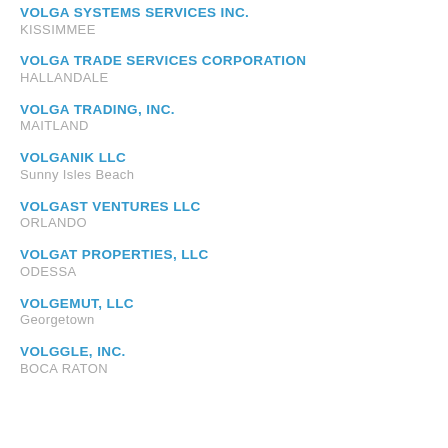VOLGA SYSTEMS SERVICES INC.
KISSIMMEE
VOLGA TRADE SERVICES CORPORATION
HALLANDALE
VOLGA TRADING, INC.
MAITLAND
VOLGANIK LLC
Sunny Isles Beach
VOLGAST VENTURES LLC
ORLANDO
VOLGAT PROPERTIES, LLC
ODESSA
VOLGEMUT, LLC
Georgetown
VOLGGLE, INC.
BOCA RATON